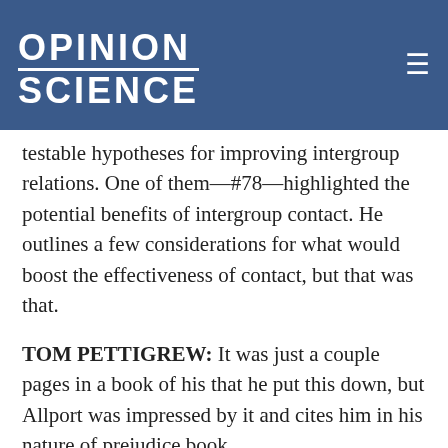OPINION SCIENCE
testable hypotheses for improving intergroup relations. One of them—#78—highlighted the potential benefits of intergroup contact. He outlines a few considerations for what would boost the effectiveness of contact, but that was that.
TOM PETTIGREW: It was just a couple pages in a book of his that he put this down, but Allport was impressed by it and cites him in his nature of prejudice book.
As Allport's writing his tome on prejudice, he happens across Williams' ideas and the